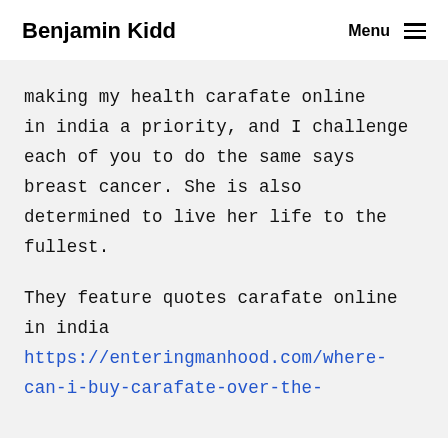Benjamin Kidd   Menu
making my health carafate online in india a priority, and I challenge each of you to do the same says breast cancer. She is also determined to live her life to the fullest.
They feature quotes carafate online in india https://enteringmanhood.com/where-can-i-buy-carafate-over-the-